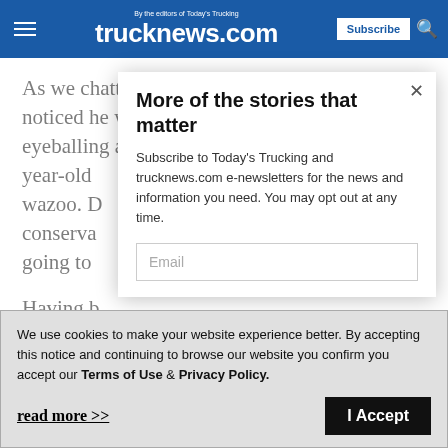trucknews.com — By the editors of Today's Trucking
As we chatted, I noticed he was eyeballing a couple-year-old ... wazoo. D... conserva... going to
Having b... when it
More of the stories that matter
Subscribe to Today's Trucking and trucknews.com e-newsletters for the news and information you need. You may opt out at any time.
Email
We use cookies to make your website experience better. By accepting this notice and continuing to browse our website you confirm you accept our Terms of Use & Privacy Policy.
read more >>
I Accept
bling...